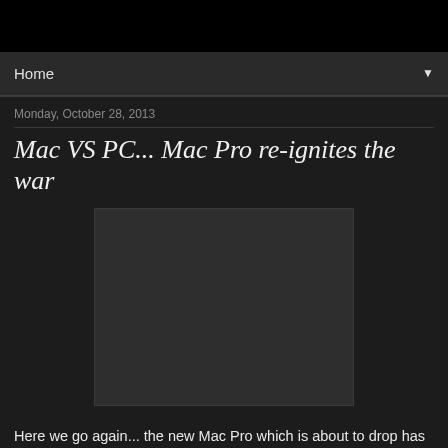Home
Monday, October 28, 2013
Mac VS PC... Mac Pro re-ignites the war
[Figure (photo): Dark rectangular image placeholder, likely an embedded video or image related to Mac Pro]
Here we go again...  the new Mac Pro which is about to drop has sparked that old flame war off again. All over the net, computer geeks are arguing about the validity of their own